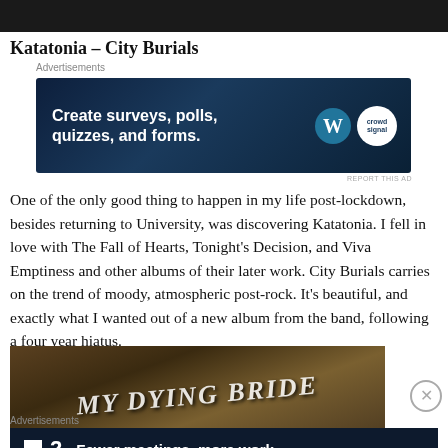[Figure (photo): Dark image at top of page, partially visible]
Katatonia – City Burials
[Figure (screenshot): Advertisement banner: Create surveys, polls, quizzes, and forms. WordPress and Crowdsignal logos on dark blue background.]
One of the only good thing to happen in my life post-lockdown, besides returning to University, was discovering Katatonia. I fell in love with The Fall of Hearts, Tonight's Decision, and Viva Emptiness and other albums of their later work. City Burials carries on the trend of moody, atmospheric post-rock. It's beautiful, and exactly what I wanted out of a new album from the band, following a four year hiatus.
[Figure (photo): Image showing 'MY DYING BRIDE' text in white hand-written style on a dark background]
[Figure (screenshot): Advertisement banner: .2 Fewer meetings, more work. Dark navy background.]